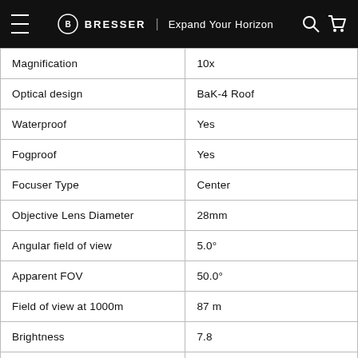BRESSER | Expand Your Horizon
| Property | Value |
| --- | --- |
| Magnification | 10x |
| Optical design | BaK-4 Roof |
| Waterproof | Yes |
| Fogproof | Yes |
| Focuser Type | Center |
| Objective Lens Diameter | 28mm |
| Angular field of view | 5.0° |
| Apparent FOV | 50.0° |
| Field of view at 1000m | 87 m |
| Brightness | 7.8 |
| Close Focus | 4.0M |